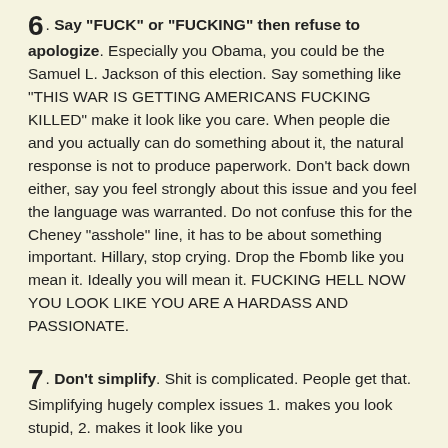6. Say "FUCK" or "FUCKING" then refuse to apologize. Especially you Obama, you could be the Samuel L. Jackson of this election. Say something like "THIS WAR IS GETTING AMERICANS FUCKING KILLED" make it look like you care. When people die and you actually can do something about it, the natural response is not to produce paperwork. Don't back down either, say you feel strongly about this issue and you feel the language was warranted. Do not confuse this for the Cheney "asshole" line, it has to be about something important. Hillary, stop crying. Drop the Fbomb like you mean it. Ideally you will mean it. FUCKING HELL NOW YOU LOOK LIKE YOU ARE A HARDASS AND PASSIONATE.
7. Don't simplify. Shit is complicated. People get that. Simplifying hugely complex issues 1. makes you look stupid, 2. makes it look like you